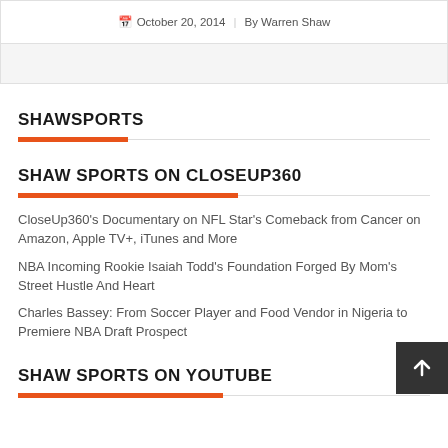October 20, 2014 | By Warren Shaw
SHAWSPORTS
SHAW SPORTS ON CLOSEUP360
CloseUp360’s Documentary on NFL Star’s Comeback from Cancer on Amazon, Apple TV+, iTunes and More
NBA Incoming Rookie Isaiah Todd’s Foundation Forged By Mom’s Street Hustle And Heart
Charles Bassey: From Soccer Player and Food Vendor in Nigeria to Premiere NBA Draft Prospect
SHAW SPORTS ON YOUTUBE